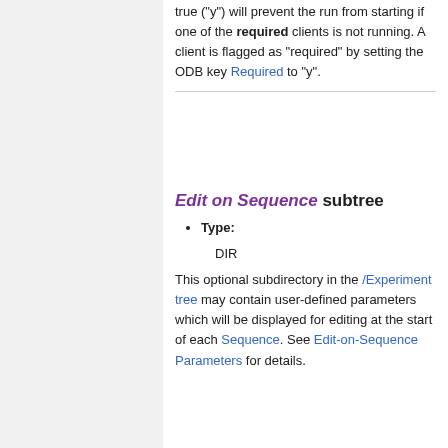true ("y") will prevent the run from starting if one of the required clients is not running. A client is flagged as "required" by setting the ODB key Required to "y".
Edit on Sequence subtree
Type:
DIR
This optional subdirectory in the /Experiment tree may contain user-defined parameters which will be displayed for editing at the start of each Sequence. See Edit-on-Sequence Parameters for details.